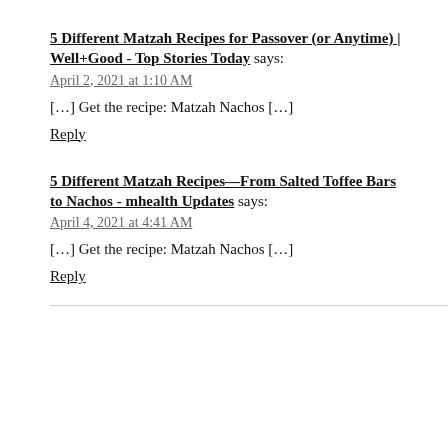5 Different Matzah Recipes for Passover (or Anytime) | Well+Good - Top Stories Today says:
April 2, 2021 at 1:10 AM
[...] Get the recipe: Matzah Nachos [...]
Reply
5 Different Matzah Recipes—From Salted Toffee Bars to Nachos - mhealth Updates says:
April 4, 2021 at 4:41 AM
[...] Get the recipe: Matzah Nachos [...]
Reply